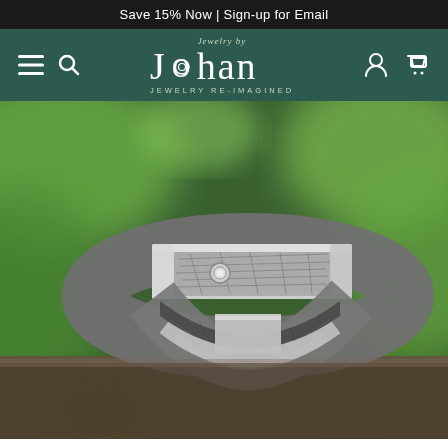Save 15% Now | Sign-up for Email
[Figure (logo): Jewelry by Johan logo — stylized 'Johan' text with circular emblem in the 'o', subtitle 'JEWELRY RE-IMAGINED', on dark green navigation bar with hamburger menu, search, account, and cart icons]
[Figure (photo): Close-up photograph of a silver/meteorite men's wedding band ring with hammered meteorite inlay texture, a small bezel-set diamond accent, and polished silver edges, displayed against a blurred green leafy background]